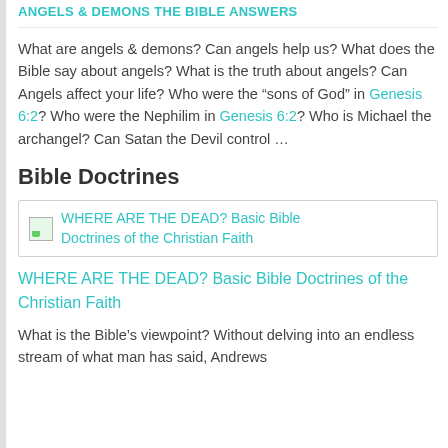ANGELS & DEMONS The Bible Answers
What are angels & demons? Can angels help us? What does the Bible say about angels? What is the truth about angels? Can Angels affect your life? Who were the “sons of God” in Genesis 6:2? Who were the Nephilim in Genesis 6:2? Who is Michael the archangel? Can Satan the Devil control …
Bible Doctrines
[Figure (illustration): Book cover thumbnail for WHERE ARE THE DEAD? Basic Bible Doctrines of the Christian Faith, shown as small image with link text]
WHERE ARE THE DEAD? Basic Bible Doctrines of the Christian Faith
What is the Bible’s viewpoint? Without delving into an endless stream of what man has said, Andrews